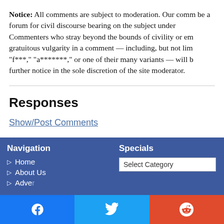Notice: All comments are subject to moderation. Our comm be a forum for civil discourse bearing on the subject under Commenters who stray beyond the bounds of civility or em gratuitous vulgarity in a comment — including, but not lim "f***." "a*******." or one of their many variants — will b further notice in the sole discretion of the site moderator.
Responses
Show/Post Comments
Navigation
▷ Home
▷ About Us
▷ Advertising
Specials
Select Category